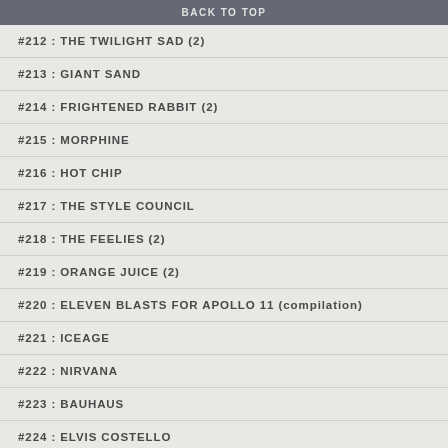BACK TO TOP
#212 : THE TWILIGHT SAD (2)
#213 : GIANT SAND
#214 : FRIGHTENED RABBIT (2)
#215 : MORPHINE
#216 : HOT CHIP
#217 : THE STYLE COUNCIL
#218 : THE FEELIES (2)
#219 : ORANGE JUICE (2)
#220 : ELEVEN BLASTS FOR APOLLO 11 (compilation)
#221 : ICEAGE
#222 : NIRVANA
#223 : BAUHAUS
#224 : ELVIS COSTELLO